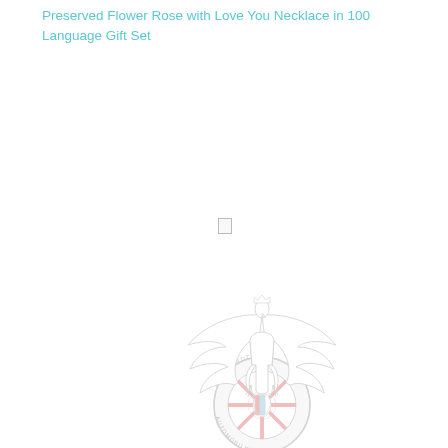Preserved Flower Rose with Love You Necklace in 100 Language Gift Set
[Figure (logo): Automobilklub Stargard circular emblem logo featuring a white eagle with spread wings above a steering wheel with red spokes, text reading AUTOMOBILKLUB STARGARDZKI around the rim, and a shield in the center of the wheel]